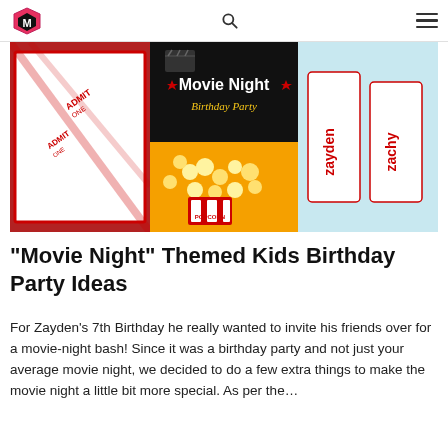[Logo] [Search icon] [Menu icon]
[Figure (photo): Movie Night Birthday Party themed collage image showing admit-one tickets, popcorn, drinks, and personalized cups labeled 'zayden' and 'zachy' with red and black color scheme. Text overlay reads 'Movie Night Birthday Party'.]
“Movie Night” Themed Kids Birthday Party Ideas
For Zayden’s 7th Birthday he really wanted to invite his friends over for a movie-night bash! Since it was a birthday party and not just your average movie night, we decided to do a few extra things to make the movie night a little bit more special. As per the…